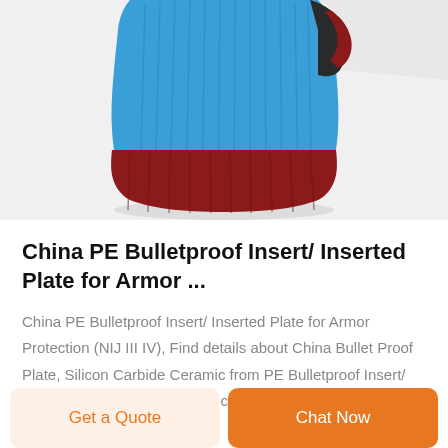[Figure (photo): Product photo showing a fingerless glove or balaclava in blue and dark red/maroon colors, viewed from an angle showing the wrist/cuff area. The item appears to be a knitted protective garment.]
China PE Bulletproof Insert/ Inserted Plate for Armor ...
China PE Bulletproof Insert/ Inserted Plate for Armor Protection (NIJ III IV), Find details about China Bullet Proof Plate, Silicon Carbide Ceramic from PE Bulletproof Insert/ Inserted Plate for Armor Protection (NIJ III IV) – Yangzhou North–